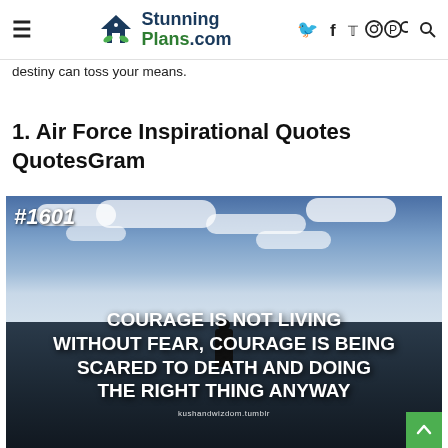StunningPlans.com — navigation header with hamburger menu and social icons (facebook, twitter, instagram, pinterest, search)
destiny can toss your means.
1. Air Force Inspirational Quotes QuotesGram
[Figure (photo): Motivational quote image with dark moody sky and silhouette of a person. White bold text reads: 'COURAGE IS NOT LIVING WITHOUT FEAR, COURAGE IS BEING SCARED TO DEATH AND DOING THE RIGHT THING ANYWAY'. Badge #1601 in top left. Source: kushandwizdom.tumblr]